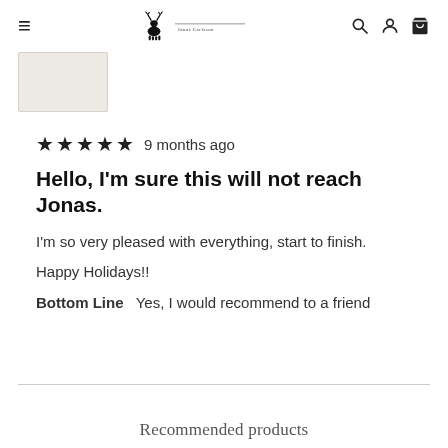≡  [logo: deer + brand name]  🔍 👤 🛒
[Figure (photo): Small product thumbnail image, light beige/grey rectangle]
★★★★★  9 months ago
Hello, I'm sure this will not reach Jonas.
I'm so very pleased with everything, start to finish.
Happy Holidays!!
Bottom Line  Yes, I would recommend to a friend
Recommended products